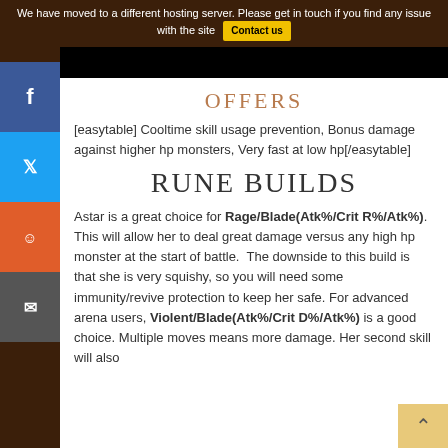We have moved to a different hosting server. Please get in touch if you find any issue with the site  Contact us
[Figure (photo): Black image strip at top of page]
OFFERS
[easytable] Cooltime skill usage prevention, Bonus damage against higher hp monsters, Very fast at low hp[/easytable]
RUNE BUILDS
Astar is a great choice for Rage/Blade(Atk%/Crit R%/Atk%). This will allow her to deal great damage versus any high hp monster at the start of battle.  The downside to this build is that she is very squishy, so you will need some immunity/revive protection to keep her safe. For advanced arena users, Violent/Blade(Atk%/Crit D%/Atk%) is a good choice. Multiple moves means more damage. Her second skill will also